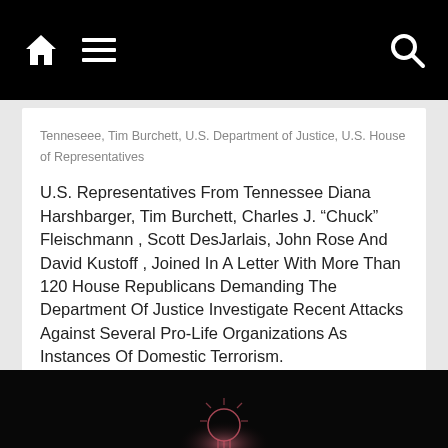Navigation bar with home, menu, and search icons
Tenneseee, Tim Burchett, U.S. Department of Justice, U.S. House of Representatives
U.S. Representatives From Tennessee Diana Harshbarger, Tim Burchett, Charles J. “Chuck” Fleischmann , Scott DesJarlais, John Rose And David Kustoff , Joined In A Letter With More Than 120 House Republicans Demanding The Department Of Justice Investigate Recent Attacks Against Several Pro-Life Organizations As Instances Of Domestic Terrorism.
Read more
[Figure (photo): Dark background with a glowing light bulb outline illustration at the bottom of the page]